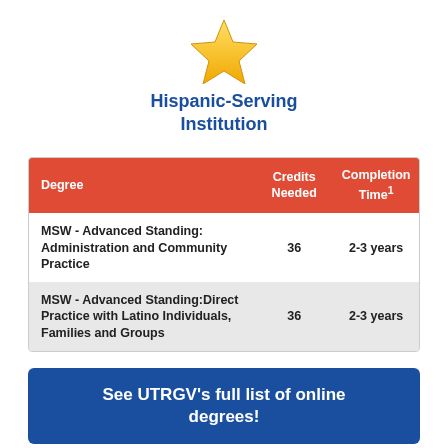[Figure (illustration): Gold star icon centered near top of page]
Hispanic-Serving Institution
| Degree | Credits Needed | Completion Time1 |
| --- | --- | --- |
| MSW - Advanced Standing: Administration and Community Practice | 36 | 2-3 years |
| MSW - Advanced Standing:Direct Practice with Latino Individuals, Families and Groups | 36 | 2-3 years |
See UTRGV's full list of online degrees!